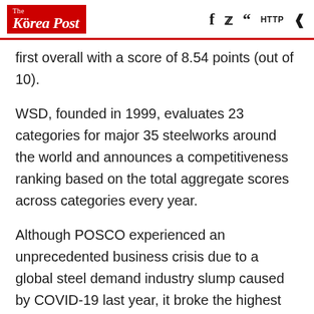The Korea Post
first overall with a score of 8.54 points (out of 10).
WSD, founded in 1999, evaluates 23 categories for major 35 steelworks around the world and announces a competitiveness ranking based on the total aggregate scores across categories every year.
Although POSCO experienced an unprecedented business crisis due to a global steel demand industry slump caused by COVID-19 last year, it broke the highest performance record since its foundation, with consolidated sales of 20.6 trillion won and operating profit of 3 trillion won in the third quarter of this year.
CEO Choi was appointed Executive Board of Director